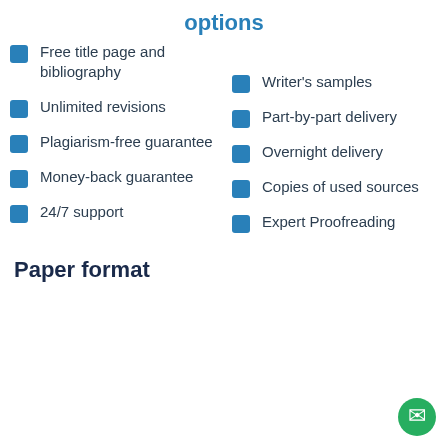options
Free title page and bibliography
Unlimited revisions
Plagiarism-free guarantee
Money-back guarantee
24/7 support
Writer's samples
Part-by-part delivery
Overnight delivery
Copies of used sources
Expert Proofreading
Paper format